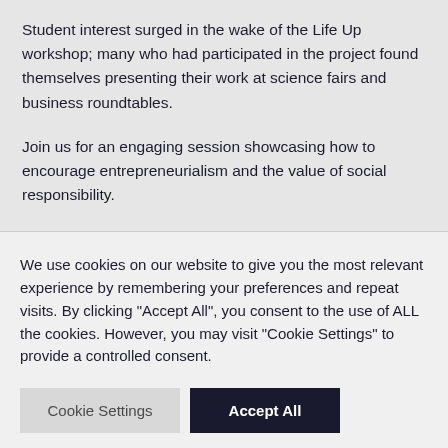Student interest surged in the wake of the Life Up workshop; many who had participated in the project found themselves presenting their work at science fairs and business roundtables.
Join us for an engaging session showcasing how to encourage entrepreneurialism and the value of social responsibility.
We use cookies on our website to give you the most relevant experience by remembering your preferences and repeat visits. By clicking "Accept All", you consent to the use of ALL the cookies. However, you may visit "Cookie Settings" to provide a controlled consent.